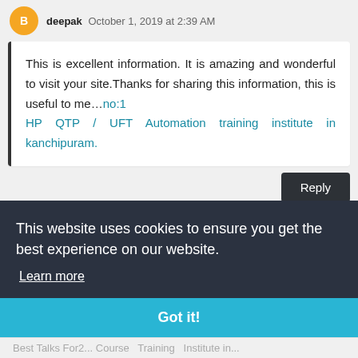deepak October 1, 2019 at 2:39 AM
This is excellent information. It is amazing and wonderful to visit your site.Thanks for sharing this information, this is useful to me…no:1 HP QTP / UFT Automation training institute in kanchipuram.
Reply
This website uses cookies to ensure you get the best experience on our website. Learn more
Got it!
Best Talks For2... Course  Training  Institute in...